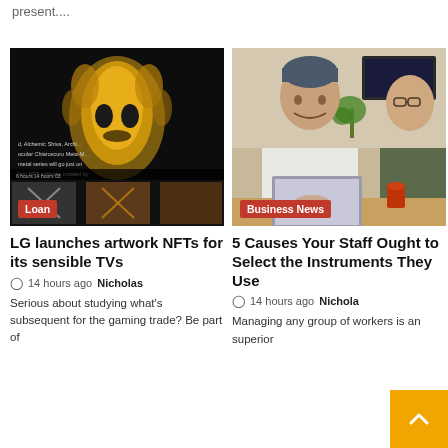present....
[Figure (photo): NFT digital artwork image showing golden metallic skull/ornate sculpture on dark background, with thumbnail strip below. Badge label: Loan]
[Figure (photo): Two men looking at a laptop together, smiling, in a bright workspace setting. Badge label: Business News]
LG launches artwork NFTs for its sensible TVs
14 hours ago  Nicholas
Serious about studying what's subsequent for the gaming trade? Be part of
5 Causes Your Staff Ought to Select the Instruments They Use
14 hours ago  Nicholas
Managing any group of workers is an superior